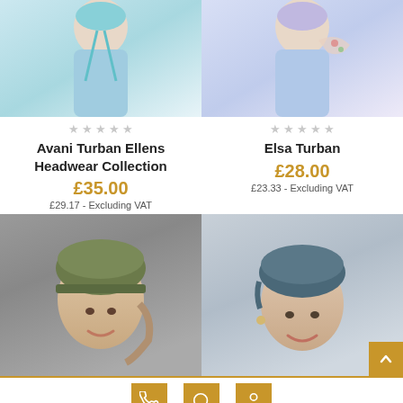[Figure (photo): Woman wearing light teal/mint colored turban headwear, partial crop showing upper body]
[Figure (photo): Woman wearing light purple/lavender turban with floral scarf, partial crop]
★★★★★
Avani Turban Ellens Headwear Collection
£35.00
£29.17 - Excluding VAT
★★★★★
Elsa Turban
£28.00
£23.33 - Excluding VAT
[Figure (photo): Woman wearing olive/khaki green turban cap, smiling, grey background]
[Figure (photo): Woman wearing teal/dark blue fitted turban cap, smiling, light background]
Phone, Search, and Account icons